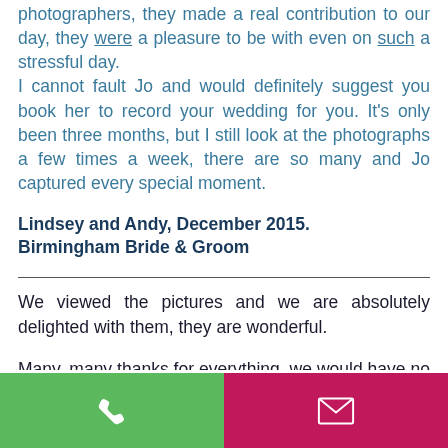photographers, they made a real contribution to our day, they were a pleasure to be with even on such a stressful day. I cannot fault Jo and would definitely suggest you book her to record your wedding for you. It's only been three months, but I still look at the photographs a few times a week, there are so many and Jo captured every special moment.
Lindsey and Andy, December 2015. Birmingham Bride & Groom
We viewed the pictures and we are absolutely delighted with them, they are wonderful.
Many, many thanks for everything, we would have no hesitation in recommending you and should we